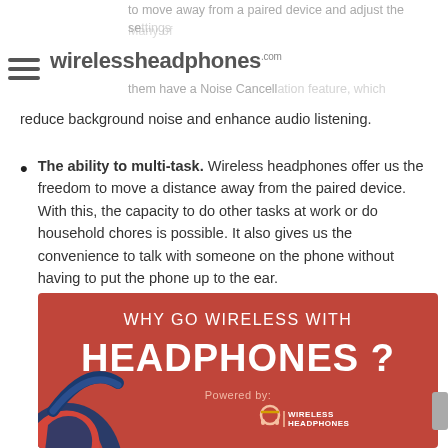wirelessheadphones.com
to move away from a paired device and adjust the settings. Many of them have a Noise Cancellation feature, which reduce background noise and enhance audio listening.
The ability to multi-task. Wireless headphones offer us the freedom to move a distance away from the paired device. With this, the capacity to do other tasks at work or do household chores is possible. It also gives us the convenience to talk with someone on the phone without having to put the phone up to the ear.
[Figure (infographic): Infographic with red background titled 'WHY GO WIRELESS WITH HEADPHONES?' powered by wirelessheadphones.com, showing the top of a blue/navy wireless headphone illustration at the bottom left.]